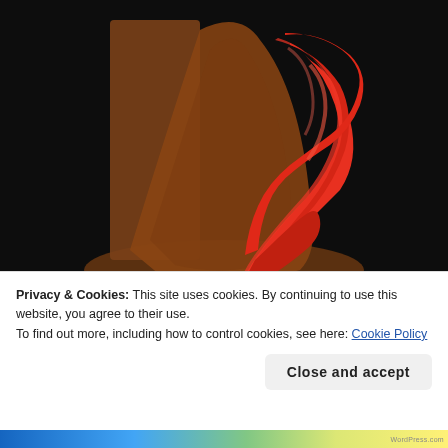[Figure (photo): A sculptural artwork showing a red ribbon-like form draped against a rusty brown curved metal surface, set against a dark black background.]
Privacy & Cookies: This site uses cookies. By continuing to use this website, you agree to their use.
To find out more, including how to control cookies, see here: Cookie Policy
Close and accept